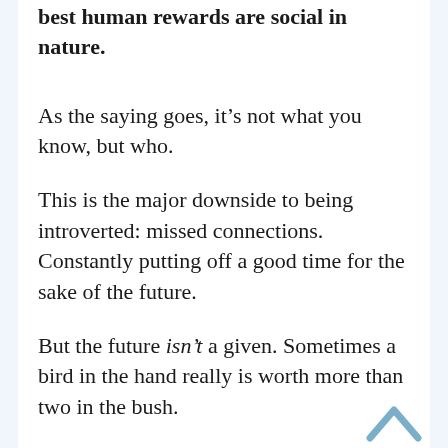best human rewards are social in nature.
As the saying goes, it’s not what you know, but who.
This is the major downside to being introverted: missed connections. Constantly putting off a good time for the sake of the future.
But the future isn’t a given. Sometimes a bird in the hand really is worth more than two in the bush.
Just ask my friend, he’ll tell you about this crazy time when he went on three skiing